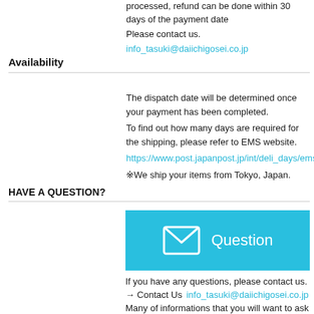processed, refund can be done within 30 days of the payment date
Please contact us.
info_tasuki@daiichigosei.co.jp
Availability
The dispatch date will be determined once your payment has been completed.
To find out how many days are required for the shipping, please refer to EMS website.
https://www.post.japanpost.jp/int/deli_days/ems/tokyo_en.html
※We ship your items from Tokyo, Japan.
HAVE A QUESTION?
[Figure (illustration): Cyan/blue button with envelope icon and text 'Question']
If you have any questions, please contact us.
→ Contact Us  info_tasuki@daiichigosei.co.jp
Many of informations that you will want to ask